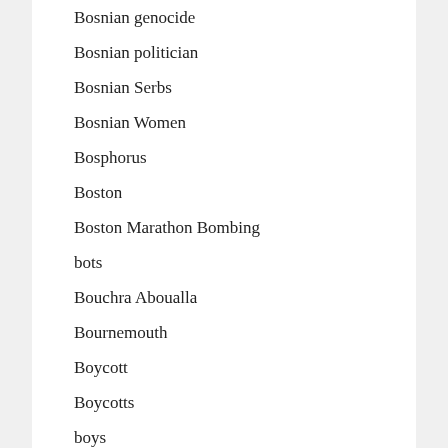Bosnian genocide
Bosnian politician
Bosnian Serbs
Bosnian Women
Bosphorus
Boston
Boston Marathon Bombing
bots
Bouchra Aboualla
Bournemouth
Boycott
Boycotts
boys
Bradford
Brandon Lewis
Braunau am Inn
Bravanese Centre